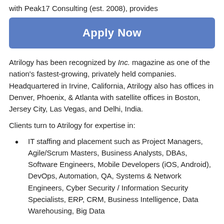with Peak17 Consulting (est. 2008), provides
[Figure (other): Apply Now button — blue rounded rectangle with white bold text 'Apply Now']
Atrilogy has been recognized by Inc. magazine as one of the nation's fastest-growing, privately held companies. Headquartered in Irvine, California, Atrilogy also has offices in Denver, Phoenix, & Atlanta with satellite offices in Boston, Jersey City, Las Vegas, and Delhi, India.
Clients turn to Atrilogy for expertise in:
IT staffing and placement such as Project Managers, Agile/Scrum Masters, Business Analysts, DBAs, Software Engineers, Mobile Developers (iOS, Android), DevOps, Automation, QA, Systems & Network Engineers, Cyber Security / Information Security Specialists, ERP, CRM, Business Intelligence, Data Warehousing, Big Data